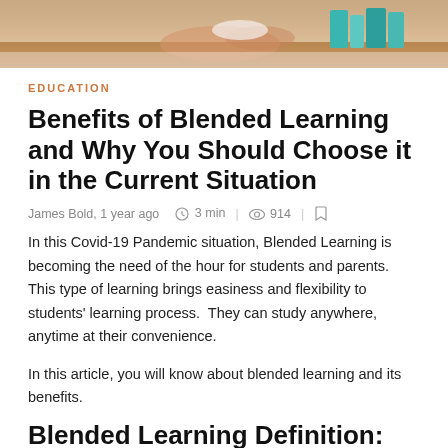[Figure (photo): Photo of a student at a desk with books, warm tones, partial view from above]
EDUCATION
Benefits of Blended Learning and Why You Should Choose it in the Current Situation
James Bold, 1 year ago   3 min  |   914  |
In this Covid-19 Pandemic situation, Blended Learning is becoming the need of the hour for students and parents. This type of learning brings easiness and flexibility to students' learning process.  They can study anywhere, anytime at their convenience.
In this article, you will know about blended learning and its benefits.
Blended Learning Definition: